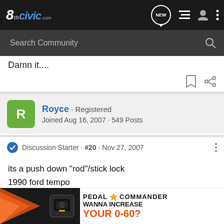8thcivic.com
Search Community
Damn it....
Royce · Registered
Joined Aug 16, 2007 · 549 Posts
Discussion Starter · #20 · Nov 27, 2007
its a push down "rod"/stick lock
1990 ford tempo
[Figure (infographic): Pedal Commander advertisement banner: orange/black graphic with device, PEDAL COMMANDER logo with star, text WANNA INCREASE YOUR 0-60?]